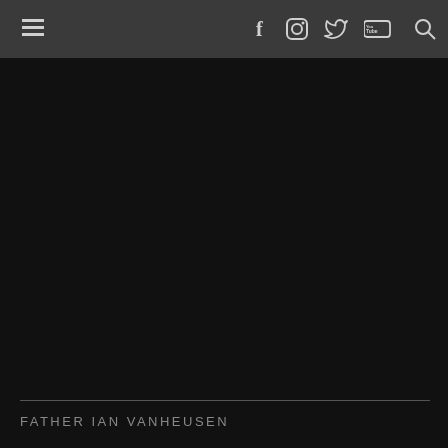≡  f  ○  🐦  You Tube  🔍
[Figure (photo): Dark/black image area, appears to be a very dark or night scene, nearly entirely black]
FATHER IAN VANHEUSEN